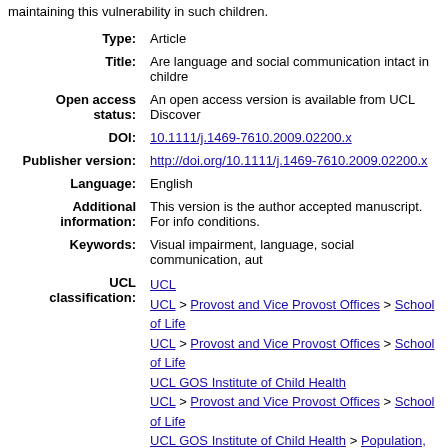maintaining this vulnerability in such children.
| Type: | Article |
| Title: | Are language and social communication intact in childre... |
| Open access status: | An open access version is available from UCL Discover... |
| DOI: | 10.1111/j.1469-7610.2009.02200.x |
| Publisher version: | http://doi.org/10.1111/j.1469-7610.2009.02200.x |
| Language: | English |
| Additional information: | This version is the author accepted manuscript. For info... conditions. |
| Keywords: | Visual impairment, language, social communication, aut... |
| UCL classification: | UCL / UCL > Provost and Vice Provost Offices > School of Life... / UCL > Provost and Vice Provost Offices > School of Life... UCL GOS Institute of Child Health / UCL > Provost and Vice Provost Offices > School of Life... UCL GOS Institute of Child Health > Population, Policy a... |
| URI: | https://discovery.ucl.ac.uk/id/eprint/98238 |
Downloads since deposit
151 Downloads